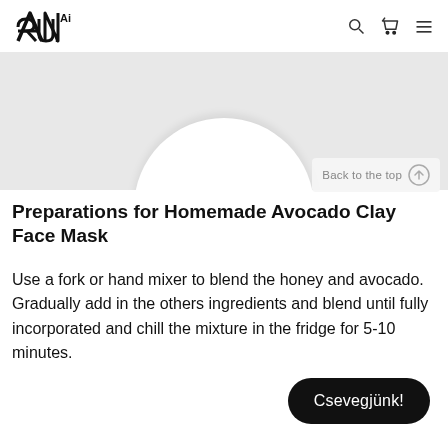ANAi ARUi
[Figure (photo): Product bowl image, white bowl on light gray background, partially cropped]
Back to the top ↑
Preparations for Homemade Avocado Clay Face Mask️
Use a fork or hand mixer to blend the honey and avocado. Gradually add in the others ingredients and blend until fully incorporated and chill the mixture in the fridge for 5-10 minutes.
Csevegjünk!